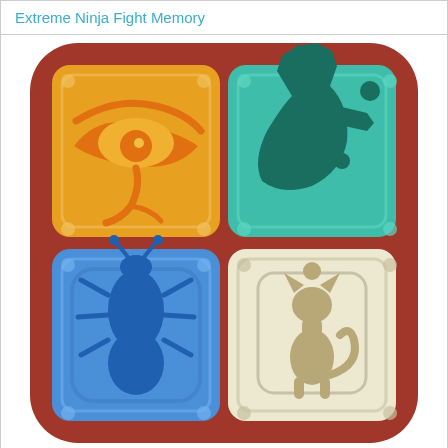Extreme Ninja Fight Memory
[Figure (illustration): App icon for an Egyptian-themed memory game. A rounded square with a terracotta/brown-red background contains a 2x2 grid of colored tiles: top-left is a golden-yellow tile with the Eye of Horus symbol; top-right is a teal/green tile with Anubis (jackal head) silhouette; bottom-left is a blue tile with a scarab beetle symbol; bottom-right is a cream/beige tile with a sitting cat (Bastet) silhouette.]